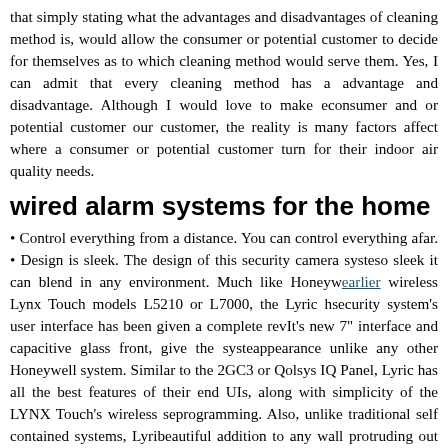that simply stating what the advantages and disadvantages of cleaning method is, would allow the consumer or potential customer to decide for themselves as to which cleaning method would serve them. Yes, I can admit that every cleaning method has a advantage and disadvantage. Although I would love to make every consumer and or potential customer our customer, the reality is many factors affect where a consumer or potential customer turn for their indoor air quality needs.
wired alarm systems for the home
• Control everything from a distance. You can control everything afar. • Design is sleek. The design of this security camera system so sleek it can blend in any environment. Much like Honeywell earlier wireless Lynx Touch models L5210 or L7000, the Lyric home security system's user interface has been given a complete revamp. It's new 7" interface and capacitive glass front, give the system an appearance unlike any other Honeywell system. Similar to the 2GIG GC3 or Qolsys IQ Panel, Lyric has all the best features of their high end UIs, along with simplicity of the LYNX Touch's wireless sensor programming. Also, unlike traditional self contained systems, Lyric is a beautiful addition to any wall protruding out only 1. 3 inches. Hands down Lyric is the best DIY home security system today. The Lyric system controller is backward compatible with the earlier Honeywell 5800 Series wireless sensors and detectors allowing up to